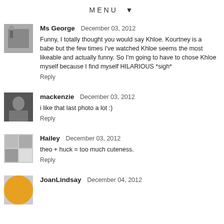MENU ▼
Ms George  December 03, 2012
Funny, I totally thought you would say Khloe. Kourtney is a babe but the few times I've watched Khloe seems the most likeable and actually funny. So I'm going to have to chose Khloe myself because I find myself HILARIOUS *sigh*
Reply
mackenzie  December 03, 2012
i like that last photo a lot :)
Reply
Hailey  December 03, 2012
theo + huck = too much cuteness.
Reply
JoanLindsay  December 04, 2012